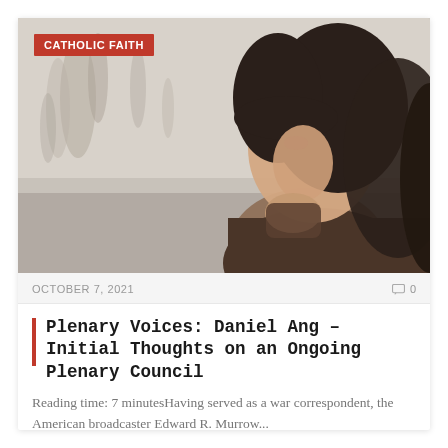[Figure (photo): A young woman with dark hair and bangs, viewed in profile, resting her chin on her hand wearing a dark brown sweater, with blurred bare winter trees in the background. A red 'CATHOLIC FAITH' category badge overlays the top-left of the image.]
OCTOBER 7, 2021
0
Plenary Voices: Daniel Ang – Initial Thoughts on an Ongoing Plenary Council
Reading time: 7 minutesHaving served as a war correspondent, the American broadcaster Edward R. Murrow...